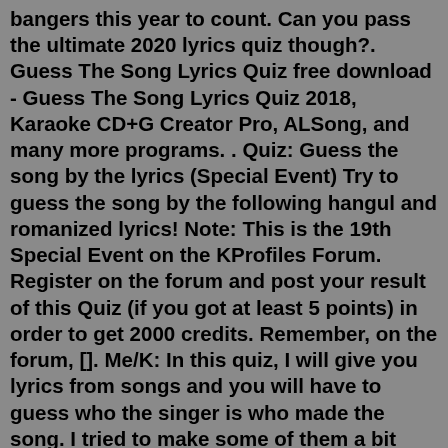bangers this year to count. Can you pass the ultimate 2020 lyrics quiz though?. Guess The Song Lyrics Quiz free download - Guess The Song Lyrics Quiz 2018, Karaoke CD+G Creator Pro, ALSong, and many more programs. . Quiz: Guess the song by the lyrics (Special Event) Try to guess the song by the following hangul and romanized lyrics! Note: This is the 19th Special Event on the KProfiles Forum. Register on the forum and post your result of this Quiz (if you got at least 5 points) in order to get 2000 credits. Remember, on the forum, []. Me/K: In this quiz, I will give you lyrics from songs and you will have to guess who the singer is who made the song. I tried to make some of them a bit easy for you. Me/K: This quiz includes H.E.R, Billie Eilish, Melanie Martinez, Dua Lipa, BLACKPINK, Minnie, Justin Bieber, The Weekend, Meghan Trainor, Michael Jackson, Sara Bareilles, Mase. Each line is a cryptic description of a commonly known Christmas Carol or Song using more sophisticated words that basically mean or